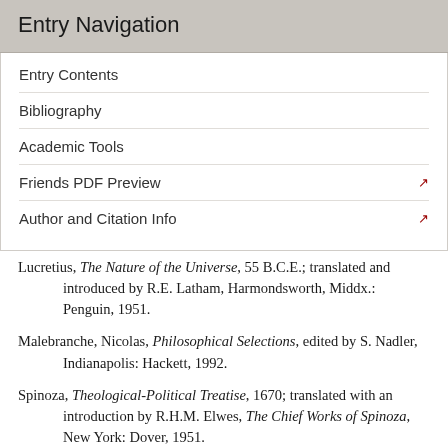Entry Navigation
Entry Contents
Bibliography
Academic Tools
Friends PDF Preview
Author and Citation Info
Lucretius, The Nature of the Universe, 55 B.C.E.; translated and introduced by R.E. Latham, Harmondsworth, Middx.: Penguin, 1951.
Malebranche, Nicolas, Philosophical Selections, edited by S. Nadler, Indianapolis: Hackett, 1992.
Spinoza, Theological-Political Treatise, 1670; translated with an introduction by R.H.M. Elwes, The Chief Works of Spinoza, New York: Dover, 1951.
–––, Ethics, 1677; translated by S. Shirley and edited with an introduction by S. Feldman, Indianapolis: